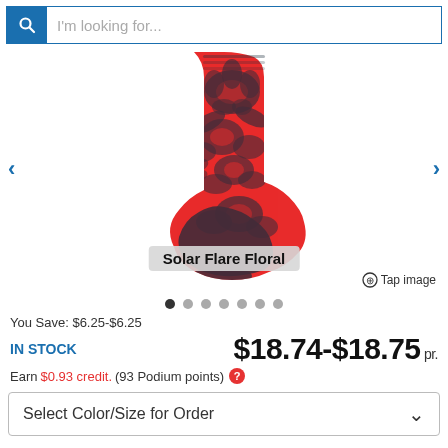I'm looking for...
[Figure (photo): Red and dark navy floral patterned athletic sock (Solar Flare Floral) shown from the side, with black toe and heel sections, floating against white background with label overlay.]
Solar Flare Floral
Tap image
You Save: $6.25-$6.25
IN STOCK
$18.74-$18.75 pr.
Earn $0.93 credit. (93 Podium points) ?
Select Color/Size for Order